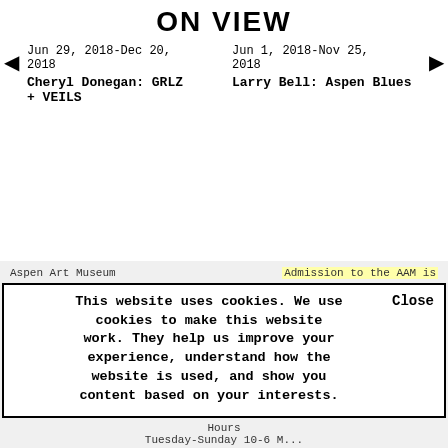ON VIEW
Jun 29, 2018-Dec 20, 2018
Cheryl Donegan: GRLZ + VEILS
Jun 1, 2018-Nov 25, 2018
Larry Bell: Aspen Blues
Aspen Art Museum
Admission to the AAM is
This website uses cookies. We use cookies to make this website work. They help us improve your experience, understand how the website is used, and show you content based on your interests.
Hours
Tuesday-Sunday 10-6 M...